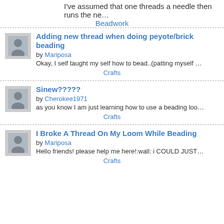I've assumed that one threads a needle then runs the ne…
Beadwork
Adding new thread when doing peyote/brick beading
by Mariposa
Okay, I self taught my self how to bead..(patting myself …
Crafts
Sinew?????
by Cherokee1971
as you know I am just learning how to use a beading loo…
Crafts
I Broke A Thread On My Loom While Beading
by Mariposa
Hello friends! please help me here!:wall: i COULD JUST…
Crafts